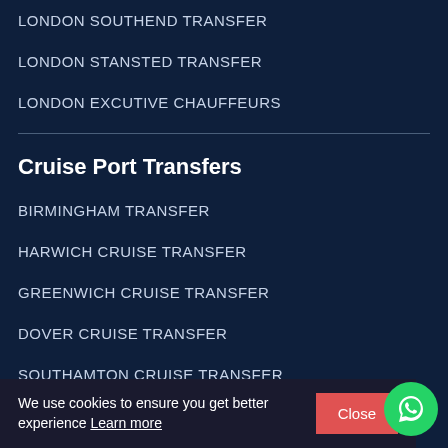LONDON SOUTHEND TRANSFER
LONDON STANSTED TRANSFER
LONDON EXCUTIVE CHAUFFEURS
Cruise Port Transfers
BIRMINGHAM TRANSFER
HARWICH CRUISE TRANSFER
GREENWICH CRUISE TRANSFER
DOVER CRUISE TRANSFER
SOUTHAMTON CRUISE TRANSFER
DOVER HEATHROW TRANSFERS
We use cookies to ensure you get better experience Learn more